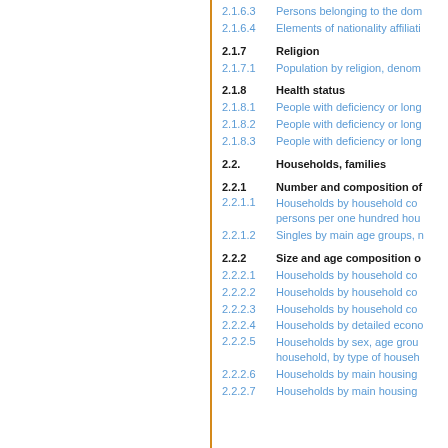2.1.6.3 Persons belonging to the dom...
2.1.6.4 Elements of nationality affiliati...
2.1.7 Religion
2.1.7.1 Population by religion, denom...
2.1.8 Health status
2.1.8.1 People with deficiency or long...
2.1.8.2 People with deficiency or long...
2.1.8.3 People with deficiency or long...
2.2. Households, families
2.2.1 Number and composition of...
2.2.1.1 Households by household com... persons per one hundred hou...
2.2.1.2 Singles by main age groups, n...
2.2.2 Size and age composition o...
2.2.2.1 Households by household co...
2.2.2.2 Households by household co...
2.2.2.3 Households by household co...
2.2.2.4 Households by detailed econo...
2.2.2.5 Households by sex, age group... household, by type of househ...
2.2.2.6 Households by main housing...
2.2.2.7 Households by main housing...